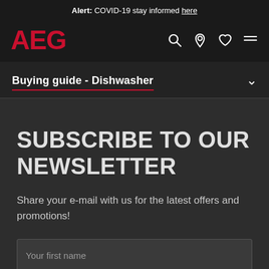Alert: COVID-19 stay informed here
[Figure (logo): AEG brand logo in red with navigation icons (search, location, heart, menu) on dark background]
Buying guide - Dishwasher
SUBSCRIBE TO OUR NEWSLETTER
Share your e-mail with us for the latest offers and promotions!
Your first name